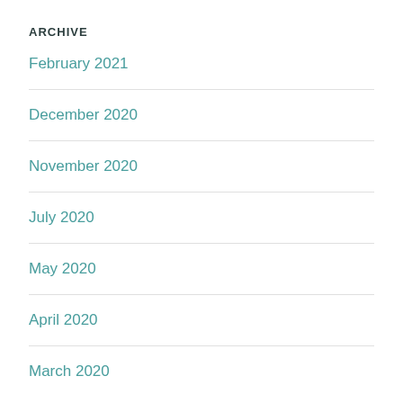ARCHIVE
February 2021
December 2020
November 2020
July 2020
May 2020
April 2020
March 2020